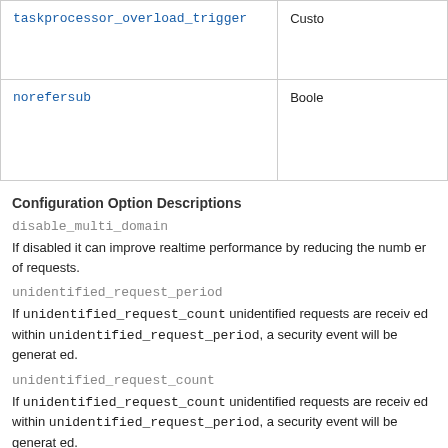|  |  |
| --- | --- |
| taskprocessor_overload_trigger | Custo |
| norefersub | Boole |
Configuration Option Descriptions
disable_multi_domain
If disabled it can improve realtime performance by reducing the number of requests.
unidentified_request_period
If unidentified_request_count unidentified requests are received within unidentified_request_period, a security event will be generated.
unidentified_request_count
If unidentified_request_count unidentified requests are received within unidentified_request_period, a security event will be generated.